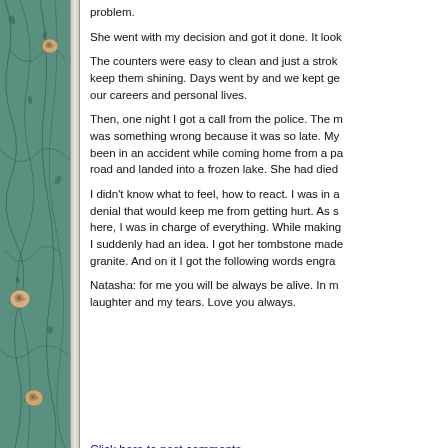[Figure (illustration): Green marble/stone textured sidebar with black veining pattern and spiral snail shell decorations]
problem.
She went with my decision and got it done. It look
The counters were easy to clean and just a strok keep them shining. Days went by and we kept ge our careers and personal lives.
Then, one night I got a call from the police. The m was something wrong because it was so late. My been in an accident while coming home from a pa road and landed into a frozen lake. She had died
I didn't know what to feel, how to react. I was in a denial that would keep me from getting hurt. As s here, I was in charge of everything. While making I suddenly had an idea. I got her tombstone made granite. And on it I got the following words engra
Natasha: for me you will be always be alive. In m laughter and my tears. Love you always.
Click here to post comments